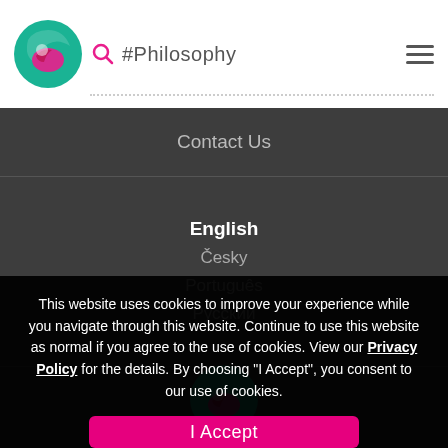#Philosophy
Contact Us
English
Česky
Português
Русский
[Figure (logo): Circular logo with teal and pink design]
This website uses cookies to improve your experience while you navigate through this website. Continue to use this website as normal if you agree to the use of cookies. View our Privacy Policy for the details. By choosing "I Accept", you consent to our use of cookies.
I Accept